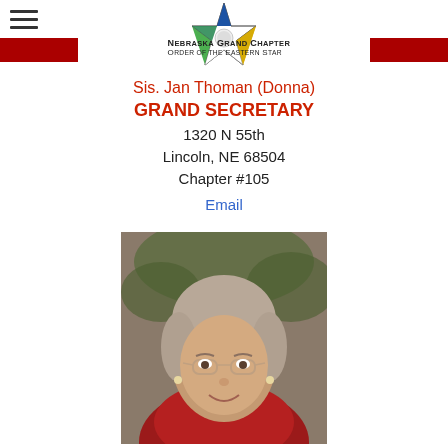[Figure (logo): Nebraska Grand Chapter Order of the Eastern Star star logo with red banners and organization name]
Sis. Jan Thoman (Donna)
GRAND SECRETARY
1320 N 55th
Lincoln, NE 68504
Chapter #105
Email
[Figure (photo): Portrait photo of an elderly woman with short curly gray hair, glasses, wearing a red jacket, smiling]